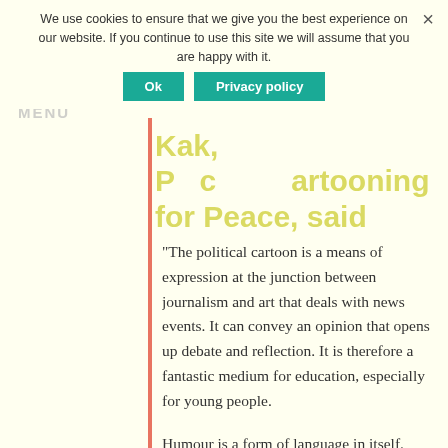We use cookies to ensure that we give you the best experience on our website. If you continue to use this site we will assume that you are happy with it.
Ok   Privacy policy   ×
Kak, Plantu Cartooning for Peace, said
“The political cartoon is a means of expression at the junction between journalism and art that deals with news events. It can convey an opinion that opens up debate and reflection. It is therefore a fantastic medium for education, especially for young people.
Humour is a form of language in itself. Cartooning for Peace spends more and more time deciphering its codes with the pupils, so that they try to understand the meaning of the cartoon, and articulate a constructed and critical